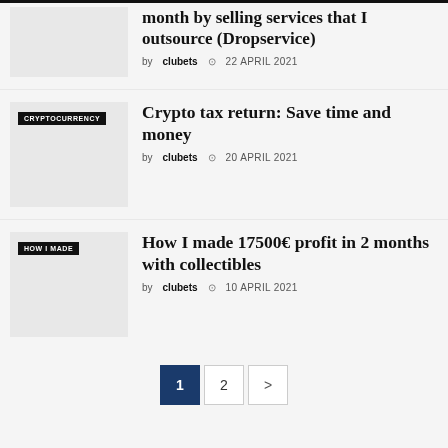month by selling services that I outsource (Dropservice)
by clubets  22 APRIL 2021
Crypto tax return: Save time and money
by clubets  20 APRIL 2021
How I made 17500€ profit in 2 months with collectibles
by clubets  10 APRIL 2021
1  2  >